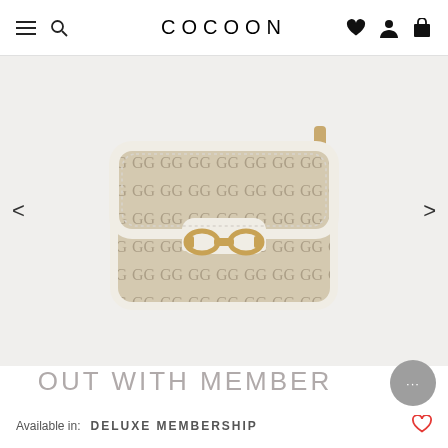COCOON
[Figure (photo): Gucci 1955 Horsebit GG Supreme canvas shoulder bag with white leather trim and gold horsebit clasp, shown on light gray background]
OUT WITH MEMBER
Available in:   DELUXE MEMBERSHIP